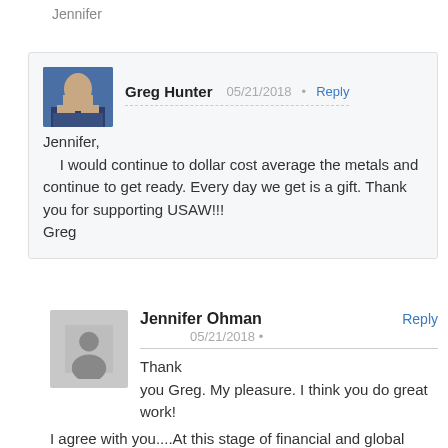Jennifer
Greg Hunter 05/21/2018 Reply
Jennifer,
I would continue to dollar cost average the metals and continue to get ready. Every day we get is a gift. Thank you for supporting USAW!!!
Greg
Jennifer Ohman Reply
05/21/2018
Thank you Greg. My pleasure. I think you do great work!
I agree with you....At this stage of financial and global developments , the price suppression that has taken place in gold has presented us with a real gift.